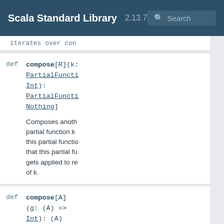Scala Standard Library 2.13.7 Search
Iterates over con
def compose[R](k: PartialFuncti
Int]): PartialFuncti
Nothing]

Composes another partial function k this partial function that this partial function gets applied to results of k.
def compose[A]
(g: (A) =>
Int): (A)
=> Nothing

Composes two instances of Function1 in a new Function1, with this function...